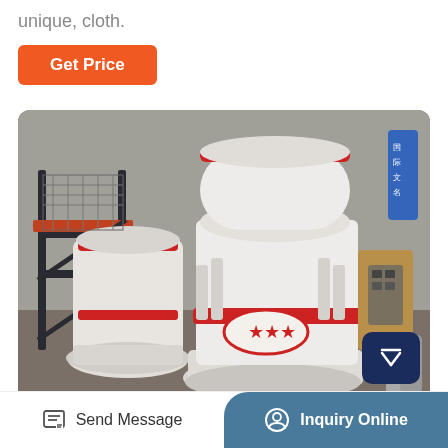unique, cloth.
[Figure (other): Orange 'Get Price' button]
[Figure (photo): Industrial grinding mill machines (white with red accents and red star logo) wrapped in plastic, stored in a factory warehouse. Metal scaffolding visible on the left. Chinese signage visible on the right wall.]
Send Message | Inquiry Online